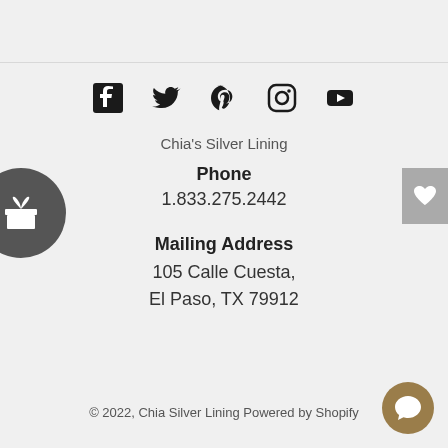[Figure (other): Social media icons row: Facebook, Twitter, Pinterest, Instagram, YouTube]
Chia's Silver Lining
Phone
1.833.275.2442
Mailing Address
105 Calle Cuesta,
El Paso, TX 79912
© 2022, Chia Silver Lining Powered by Shopify